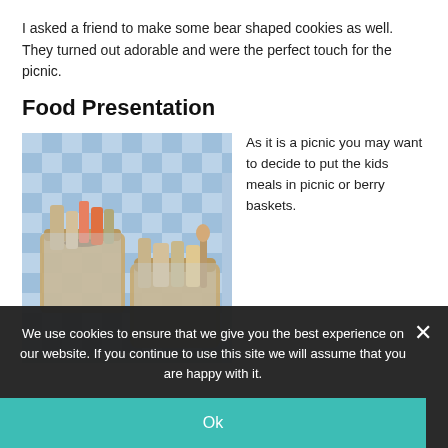I asked a friend to make some bear shaped cookies as well. They turned out adorable and were the perfect touch for the picnic.
Food Presentation
[Figure (photo): Photo of picnic baskets with utensils, napkins, and food items on a blue and white checkered blanket]
As it is a picnic you may want to decide to put the kids meals in picnic or berry baskets.
We use cookies to ensure that we give you the best experience on our website. If you continue to use this site we will assume that you are happy with it.